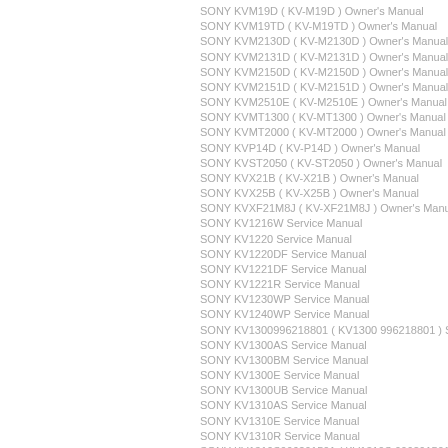SONY KVM19D ( KV-M19D ) Owner's Manual
SONY KVM19TD ( KV-M19TD ) Owner's Manual
SONY KVM2130D ( KV-M2130D ) Owner's Manual
SONY KVM2131D ( KV-M2131D ) Owner's Manual
SONY KVM2150D ( KV-M2150D ) Owner's Manual
SONY KVM2151D ( KV-M2151D ) Owner's Manual
SONY KVM2510E ( KV-M2510E ) Owner's Manual
SONY KVMT1300 ( KV-MT1300 ) Owner's Manual
SONY KVMT2000 ( KV-MT2000 ) Owner's Manual
SONY KVP14D ( KV-P14D ) Owner's Manual
SONY KVST2050 ( KV-ST2050 ) Owner's Manual
SONY KVX21B ( KV-X21B ) Owner's Manual
SONY KVX25B ( KV-X25B ) Owner's Manual
SONY KVXF21M8J ( KV-XF21M8J ) Owner's Manual
SONY KV1216W Service Manual
SONY KV1220 Service Manual
SONY KV1220DF Service Manual
SONY KV1221DF Service Manual
SONY KV1221R Service Manual
SONY KV1230WP Service Manual
SONY KV1240WP Service Manual
SONY KV1300996218801 ( KV1300 996218801 ) Service Manual
SONY KV1300AS Service Manual
SONY KV1300BM Service Manual
SONY KV1300E Service Manual
SONY KV1300UB Service Manual
SONY KV1310AS Service Manual
SONY KV1310E Service Manual
SONY KV1310R Service Manual
SONY KV1310S996291501 ( KV1310S 996291501 ) Service Manual
SONY KV1310UB Service Manual
SONY KV1320UB Service Manual
SONY KV1330UB Service Manual
SONY KV1331 Service Manual
SONY KV1332 Service Manual
SONY KV1340996205600 ( KV1340 996205600 ) Service Manual
SONY KV1340DF Service Manual
SONY KV1340DF Service Manual